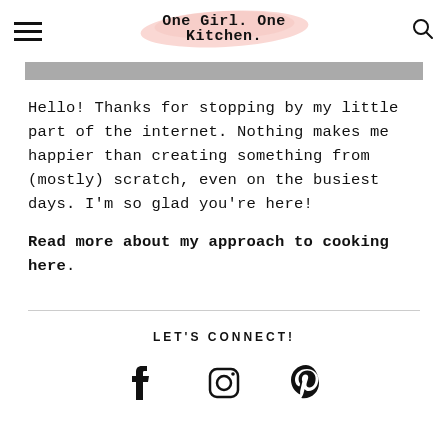One Girl. One Kitchen.
[Figure (photo): Gray banner image strip at top of page content area]
Hello! Thanks for stopping by my little part of the internet. Nothing makes me happier than creating something from (mostly) scratch, even on the busiest days. I'm so glad you're here!
Read more about my approach to cooking here.
LET'S CONNECT!
[Figure (illustration): Social media icons: Facebook (f), Instagram (camera), Pinterest (P)]